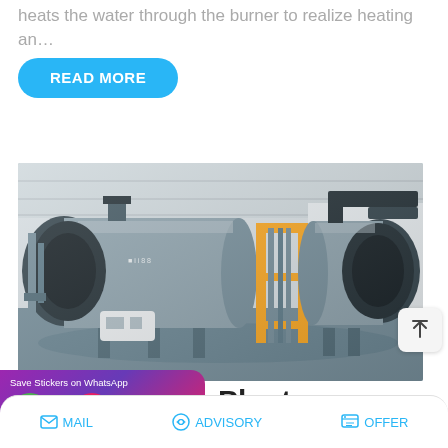heats the water through the burner to realize heating an…
READ MORE
[Figure (photo): Industrial boiler plant room with two large horizontal cylindrical boilers, yellow pipe framework, and associated equipment in a factory setting.]
Plant
[Figure (screenshot): WhatsApp sticker saver app overlay showing two app icons (WhatsApp green phone and a pink emoji face) with text 'Save Stickers on WhatsApp']
MAIL   ADVISORY   OFFER